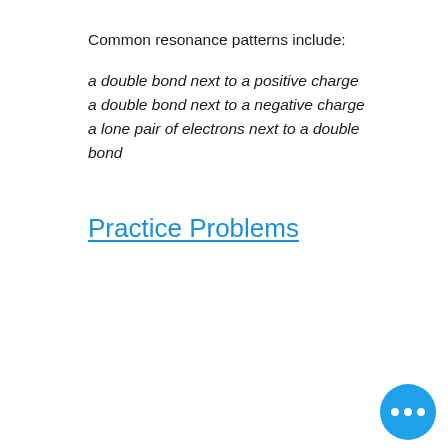Common resonance patterns include:
a double bond next to a positive charge
a double bond next to a negative charge
a lone pair of electrons next to a double bond
Practice Problems